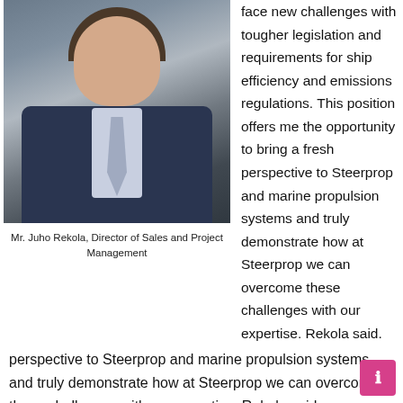[Figure (photo): Portrait photo of Mr. Juho Rekola, a man in a dark blue suit with a light tie, smiling, with a blurred background.]
Mr. Juho Rekola, Director of Sales and Project Management
face new challenges with tougher legislation and requirements for ship efficiency and emissions regulations. This position offers me the opportunity to bring a fresh perspective to Steerprop and marine propulsion systems and truly demonstrate how at Steerprop we can overcome these challenges with our expertise. Rekola said.